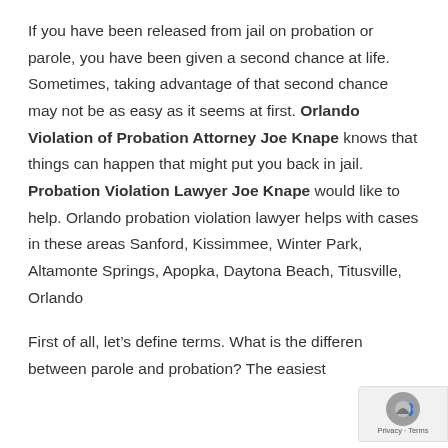If you have been released from jail on probation or parole, you have been given a second chance at life. Sometimes, taking advantage of that second chance may not be as easy as it seems at first. Orlando Violation of Probation Attorney Joe Knape knows that things can happen that might put you back in jail. Probation Violation Lawyer Joe Knape would like to help. Orlando probation violation lawyer helps with cases in these areas Sanford, Kissimmee, Winter Park, Altamonte Springs, Apopka, Daytona Beach, Titusville, Orlando
First of all, let’s define terms. What is the difference between parole and probation? The easiest